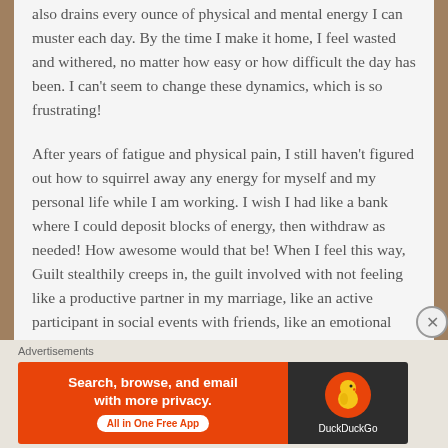also drains every ounce of physical and mental energy I can muster each day. By the time I make it home, I feel wasted and withered, no matter how easy or how difficult the day has been. I can't seem to change these dynamics, which is so frustrating!
After years of fatigue and physical pain, I still haven't figured out how to squirrel away any energy for myself and my personal life while I am working. I wish I had like a bank where I could deposit blocks of energy, then withdraw as needed! How awesome would that be! When I feel this way, Guilt stealthily creeps in, the guilt involved with not feeling like a productive partner in my marriage, like an active participant in social events with friends, like an emotional engaged human. I know guilt is self-imposed and
Advertisements
[Figure (infographic): DuckDuckGo advertisement banner. Left side: orange background with white bold text 'Search, browse, and email with more privacy.' and white pill button 'All in One Free App'. Right side: dark background with DuckDuckGo duck logo in orange circle and 'DuckDuckGo' white text.]